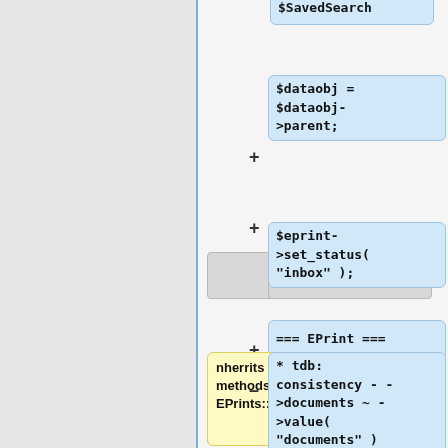[Figure (flowchart): Diff/comparison diagram showing two columns of code/text boxes connected by a vertical blue line. Left column has empty gray boxes. Right column has blue code boxes with PHP code snippets ($SavedSearch, $dataobj=$dataobj->parent;, === EPrint ===, $eprint->set_status("inbox");, tdb: consistency -- ->documents ~ ->value("documents") and ->value() returns array ref). A yellow box shows 'nherrits all methods from EPrints::DataObj.' Plus and minus signs indicate additions/removals.]